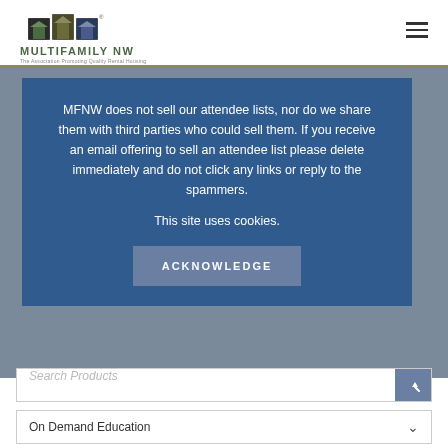[Figure (logo): Multifamily NW logo with house icons and tagline 'The Association Promoting Quality Rental Housing']
[Figure (other): Hamburger menu icon (three horizontal lines) in top right corner]
MFNW does not sell our attendee lists, nor do we share them with third parties who could sell them. If you receive an email offering to sell an attendee list please delete immediately and do not click any links or reply to the spammers.

This site uses cookies.
ACKNOWLEDGE
Search Products
On Demand Education